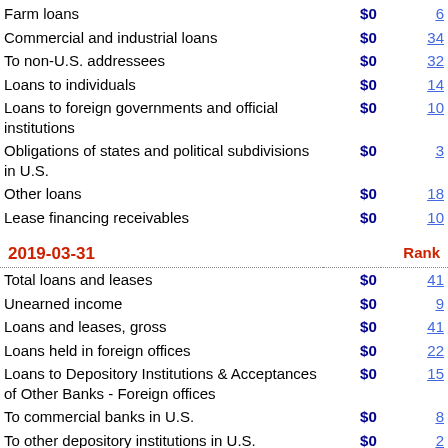|  | $0 | Rank |
| --- | --- | --- |
| Farm loans | $0 | 6 |
| Commercial and industrial loans | $0 | 34 |
| To non-U.S. addressees | $0 | 32 |
| Loans to individuals | $0 | 14 |
| Loans to foreign governments and official institutions | $0 | 10 |
| Obligations of states and political subdivisions in U.S. | $0 | 3 |
| Other loans | $0 | 18 |
| Lease financing receivables | $0 | 10 |
2019-03-31    Rank
|  | $0 | Rank |
| --- | --- | --- |
| Total loans and leases | $0 | 41 |
| Unearned income | $0 | 9 |
| Loans and leases, gross | $0 | 41 |
| Loans held in foreign offices | $0 | 22 |
| Loans to Depository Institutions & Acceptances of Other Banks - Foreign offices | $0 | 15 |
| To commercial banks in U.S. | $0 | 8 |
| To other depository institutions in U.S. | $0 | 2 |